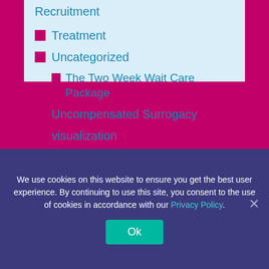Recruitment
Treatment
Uncategorized
The Two Week Wait Care Package
Uncompensated Surrogacy
visualization
Tags
actresses adoption
We use cookies on this website to ensure you get the best user experience. By continuing to use this site, you consent to the use of cookies in accordance with our Privacy Policy.